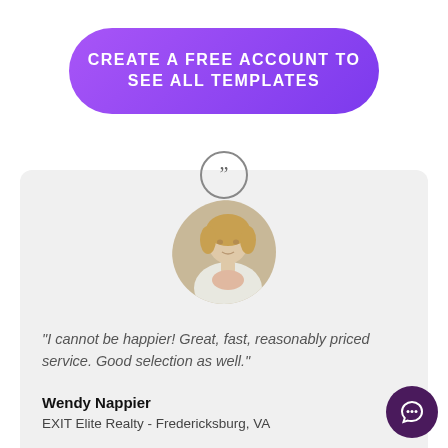CREATE A FREE ACCOUNT TO SEE ALL TEMPLATES
[Figure (photo): Circular profile photo of Wendy Nappier, a woman with blonde hair wearing a white blazer]
"I cannot be happier!  Great, fast, reasonably priced service. Good selection as well."
Wendy Nappier
EXIT Elite Realty - Fredericksburg, VA